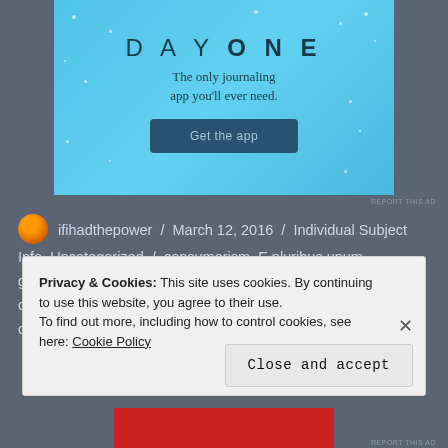[Figure (screenshot): DAY ONE journaling app advertisement banner with light blue background, showing 'DAY ONE' title, tagline 'The only journaling app you'll ever need.' and a 'Get the app' button]
ifihadthepower / March 12, 2016 / Individual Subject Info, Uncategorized / consumerism, E pluribus unum, greed, social stratification, unchecked capitalism, upper class, value system, wealth, world power / Leave a comment
Privacy & Cookies: This site uses cookies. By continuing to use this website, you agree to their use.
To find out more, including how to control cookies, see here: Cookie Policy
Close and accept